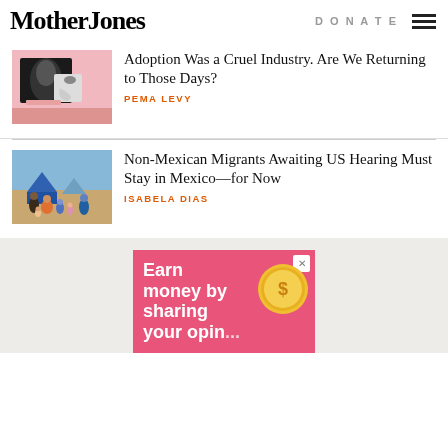Mother Jones
DONATE
[Figure (photo): Pink background collage with ultrasound image and baby footprint photos]
Adoption Was a Cruel Industry. Are We Returning to Those Days?
PEMA LEVY
[Figure (photo): Migrants with tents and children waiting outdoors]
Non-Mexican Migrants Awaiting US Hearing Must Stay in Mexico—for Now
ISABELA DIAS
[Figure (other): Advertisement banner: Earn money by sharing your opinions, with gold coin graphic]